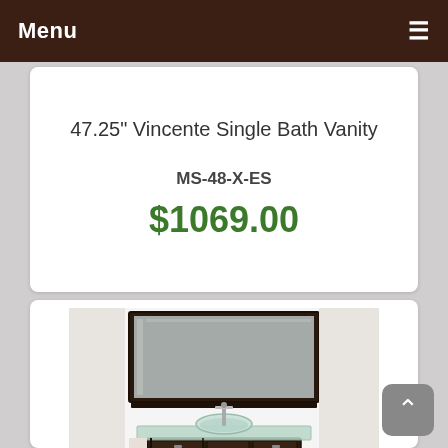Menu
47.25" Vincente Single Bath Vanity
MS-48-X-ES
$1069.00
[Figure (photo): Photo of a single bathroom vanity with dark espresso cabinet, glass countertop sink, chrome faucet, and rectangular wall mirror above]